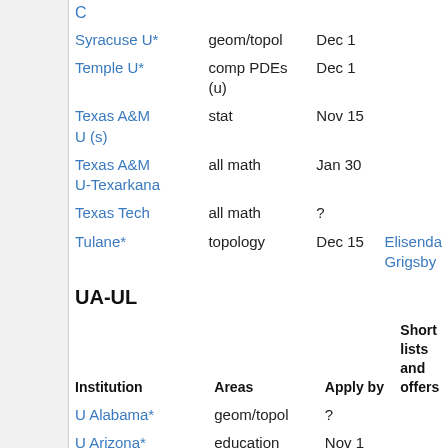| Institution | Areas | Apply by | Short lists and offers |
| --- | --- | --- | --- |
| C |  |  |  |
| Syracuse U* | geom/topol | Dec 1 |  |
| Temple U* | comp PDEs (u) | Dec 1 |  |
| Texas A&M U (s) | stat | Nov 15 |  |
| Texas A&M U-Texarkana | all math | Jan 30 |  |
| Texas Tech | all math | ? |  |
| Tulane* | topology | Dec 15 | Elisenda Grigsby |
UA-UL
| Institution | Areas | Apply by | Short lists and offers |
| --- | --- | --- | --- |
| U Alabama* | geom/topol | ? |  |
| U Arizona* | education | Nov 1 |  |
| U Arizona* | stat | Dec 1 |  |
| U Arizona* | all math | Dec 1 | frozen |
| U Arkansas* | analysis | Nov 1 | filled □ |
| U California, | all math (t) | Dec 1 | Mark |